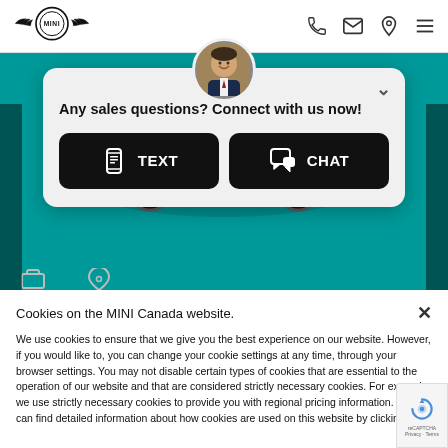[Figure (logo): MINI car brand logo with wings]
[Figure (infographic): MINI Canada website screenshot with teal background showing a MINI car, a chat popup with agent avatar, TEXT and CHAT buttons, and a cookie consent notice at the bottom]
Any sales questions? Connect with us now!
TEXT
CHAT
Cookies on the MINI Canada website.
We use cookies to ensure that we give you the best experience on our website. However, if you would like to, you can change your cookie settings at any time, through your browser settings. You may not disable certain types of cookies that are essential to the operation of our website and that are considered strictly necessary cookies. For example, we use strictly necessary cookies to provide you with regional pricing information. You can find detailed information about how cookies are used on this website by clicking here.